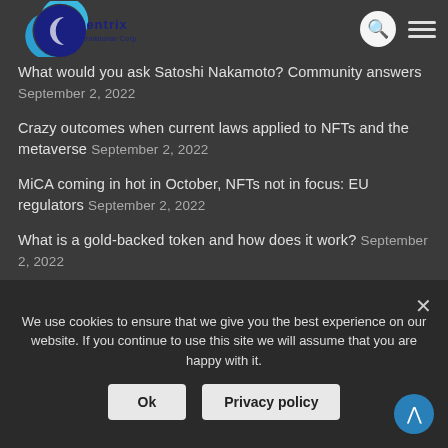Centrix International Corp. — navigation header with search and menu icons
What would you ask Satoshi Nakamoto? Community answers September 2, 2022
Crazy outcomes when current laws applied to NFTs and the metaverse September 2, 2022
MiCA coming in hot in October, NFTs not in focus: EU regulators September 2, 2022
What is a gold-backed token and how does it work? September 2, 2022
62% of wallets did not sell Bitcoin for a year amid the bear market: Data September 2, 2022
We use cookies to ensure that we give you the best experience on our website. If you continue to use this site we will assume that you are happy with it.
Ok | Privacy policy